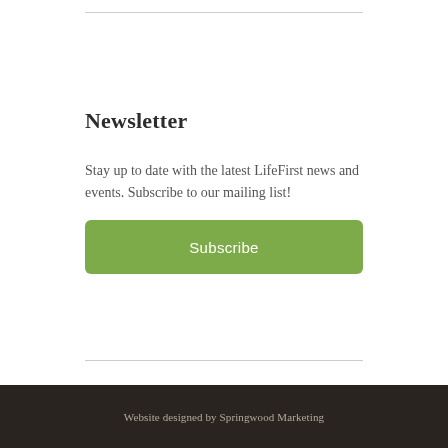Newsletter
Stay up to date with the latest LifeFirst news and events.  Subscribe to our mailing list!
[Figure (other): Green subscribe button with white text reading 'Subscribe']
Website designed by Springwood Marketing